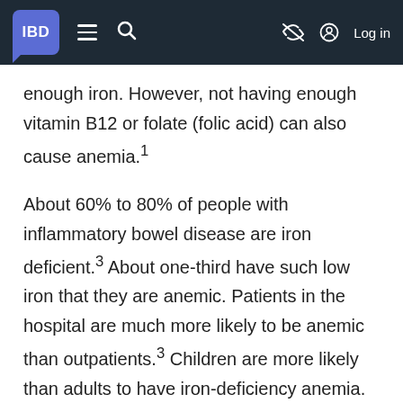IBD
enough iron. However, not having enough vitamin B12 or folate (folic acid) can also cause anemia.¹
About 60% to 80% of people with inflammatory bowel disease are iron deficient.³ About one-third have such low iron that they are anemic. Patients in the hospital are much more likely to be anemic than outpatients.³ Children are more likely than adults to have iron-deficiency anemia.